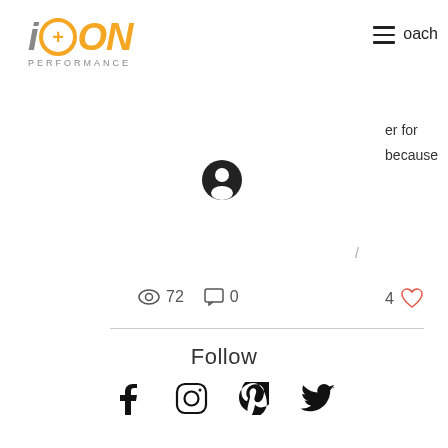[Figure (logo): ION Performance logo with orange plus circle and gray text]
oach
er for
because
[Figure (illustration): User profile circle icon]
72  0  4
Follow
[Figure (illustration): Social media icons: Facebook, Instagram, Pinterest, Twitter]
Contact
recharge@ionperformancecare.com
HQ
Jersey City, New Jersey, USA